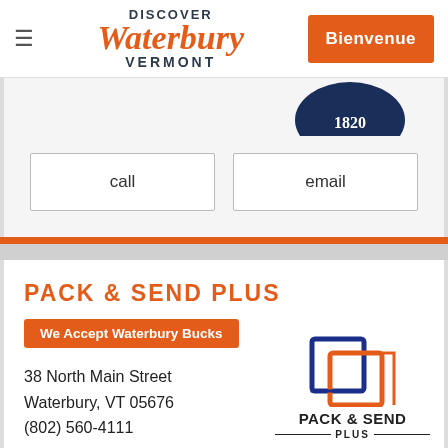Discover Waterbury Vermont — Bienvenue
[Figure (logo): Discover Waterbury Vermont logo with orange script Waterbury text and dark blue DISCOVER and VERMONT text]
[Figure (logo): Bienvenue orange button in top right navigation]
[Figure (logo): Partial circular badge showing 1820]
call
email
PACK & SEND PLUS
We Accept Waterbury Bucks
38 North Main Street
Waterbury, VT 05676
(802) 560-4111
[Figure (logo): Globe icon and Facebook icon for Pack & Send Plus]
[Figure (logo): Pack & Send Plus logo with blue and orange nested square icon and PACK & SEND PLUS text]